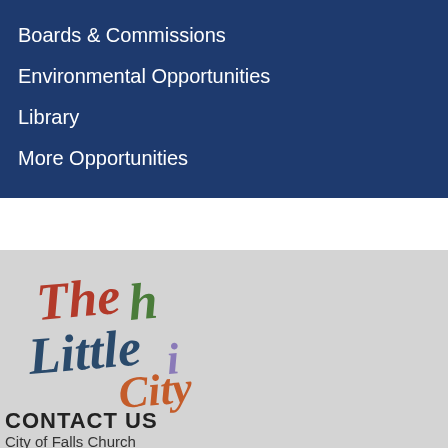Boards & Commissions
Environmental Opportunities
Library
More Opportunities
[Figure (logo): The Little City colorful script logo for City of Falls Church]
CONTACT US
City of Falls Church